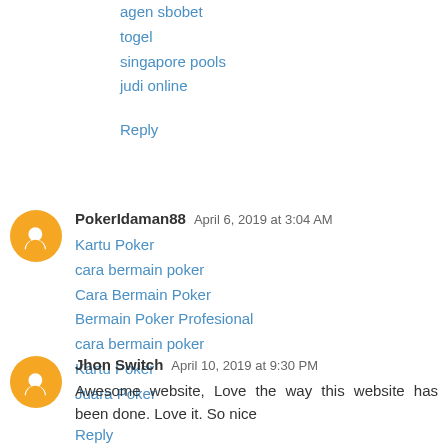agen sbobet
togel
singapore pools
judi online
Reply
PokerIdaman88  April 6, 2019 at 3:04 AM
Kartu Poker
cara bermain poker
Cara Bermain Poker
Bermain Poker Profesional
cara bermain poker
Kartu Poker
Juara Poker
Reply
Jhon Switch  April 10, 2019 at 9:30 PM
Awesome website, Love the way this website has been done. Love it. So nice